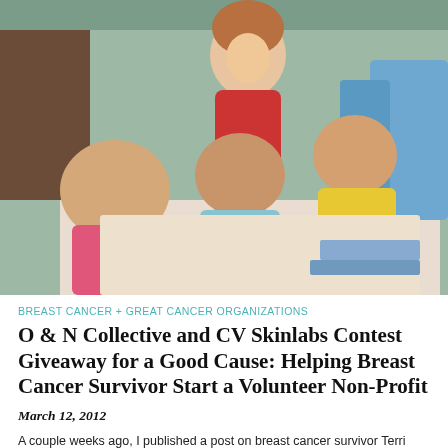[Figure (photo): A smiling woman in a red shirt posing with three young children at a table, appearing to be at a community or charitable event.]
BREAST CANCER + GREAT CANCER ORGANIZATIONS
O & N Collective and CV Skinlabs Contest Giveaway for a Good Cause: Helping Breast Cancer Survivor Start a Volunteer Non-Profit
March 12, 2012
A couple weeks ago, I published a post on breast cancer survivor Terri Wingham and her efforts to raise enough money to start her new non-profit organization for cancer fighters and survivors. Several of you have since donated to this cause-thank you! Terri still needs more funds to finish her trip, however, and I'm hoping